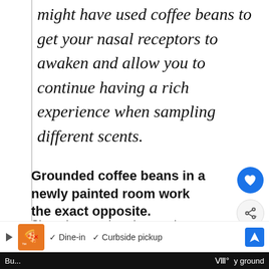might have used coffee beans to get your nasal receptors to awaken and allow you to continue having a rich experience when sampling different scents.
Grounded coffee beans in a newly painted room work the exact opposite.
Since they awaken the nasal receptors, think that it will make the paint smell even more unbearable.
WHAT'S NEXT → Should You Paint Popco...
[Figure (screenshot): Ad banner: restaurant logo with checkmarks for Dine-in and Curbside pickup, navigation icon on right, X close button]
But... y ground